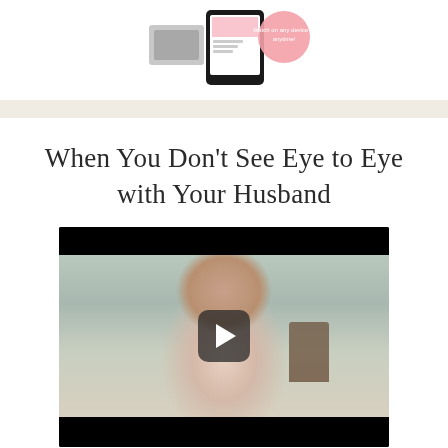[Figure (screenshot): Top portion of a webpage showing a tablet device and a pink circle badge reading 'Watch on any device at anytime!']
When You Don't See Eye to Eye with Your Husband
[Figure (screenshot): Video thumbnail showing a woman seated in a chair with a play button overlay. The video player has black bars at top and bottom.]